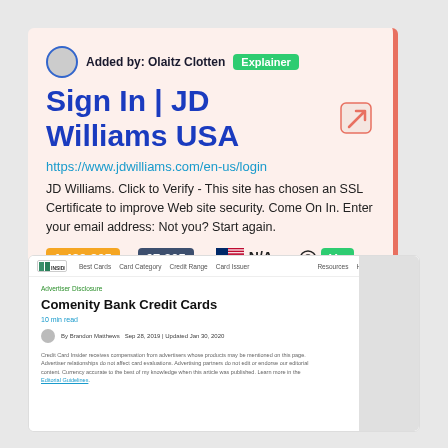Added by: Olaitz Clotten  Explainer
Sign In | JD Williams USA
https://www.jdwilliams.com/en-us/login
JD Williams. Click to Verify - This site has chosen an SSL Certificate to improve Web site security. Come On In. Enter your email address: Not you? Start again.
1,489,865  Global Rank   67,305  Pageviews   N/A  Top Country   Up  Site Staus
[Figure (screenshot): Screenshot of Credit Card Insider website showing 'Comenity Bank Credit Cards' article page with navigation bar, breadcrumb, title, read time, author info and disclaimer text.]